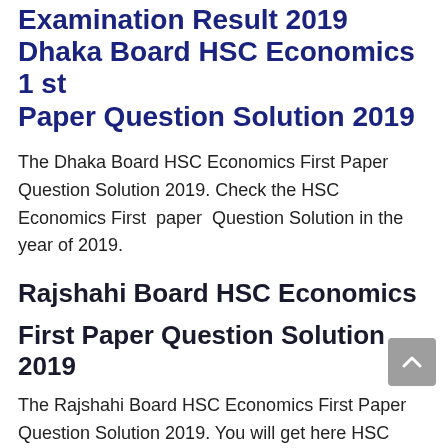Examination Result 2019 Dhaka Board HSC Economics 1 st Paper Question Solution 2019
The Dhaka Board HSC Economics First Paper Question Solution 2019. Check the HSC Economics First paper Question Solution in the year of 2019.
Rajshahi Board HSC Economics First Paper Question Solution 2019
The Rajshahi Board HSC Economics First Paper Question Solution 2019. You will get here HSC Question Solution of HSC Economics First paper Of HSC Exam 2019.
Chittagong Board HSC Economics